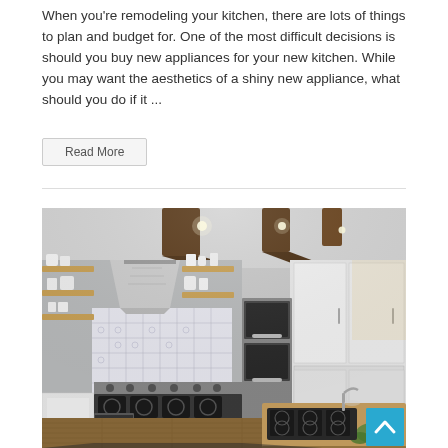When you're remodeling your kitchen, there are lots of things to plan and budget for. One of the most difficult decisions is should you buy new appliances for your new kitchen. While you may want the aesthetics of a shiny new appliance, what should you do if it ...
Read More
[Figure (photo): Interior photo of a modern kitchen remodel featuring open wood shelving, a stainless steel range hood, a large gas range with black grates, patterned tile backsplash, white shaker cabinets, built-in wall ovens, wood plank flooring, and an island with butcher block countertop. Dark wood ceiling beams are visible. A teal scroll-to-top button appears in the bottom right corner.]